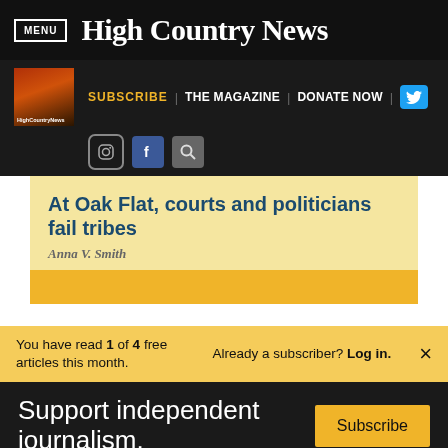MENU | High Country News
[Figure (screenshot): High Country News website navigation bar with magazine thumbnail, SUBSCRIBE, THE MAGAZINE, DONATE NOW links, Twitter, Instagram, Facebook, and search icons]
At Oak Flat, courts and politicians fail tribes
Anna V. Smith
You have read 1 of 4 free articles this month. Already a subscriber? Log in. ×
Support independent journalism. Subscribe